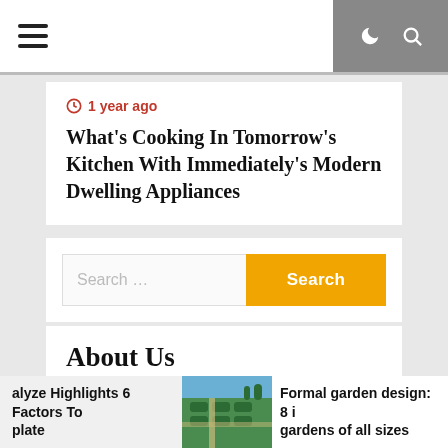Navigation bar with hamburger menu and icons
1 year ago
What's Cooking In Tomorrow's Kitchen With Immediately's Modern Dwelling Appliances
[Figure (screenshot): Search widget with text input field and orange Search button]
About Us
Contact Us
alyze Highlights 6 Factors To plate
[Figure (photo): Formal garden aerial view with green hedges and pathways]
Formal garden design: 8 i gardens of all sizes